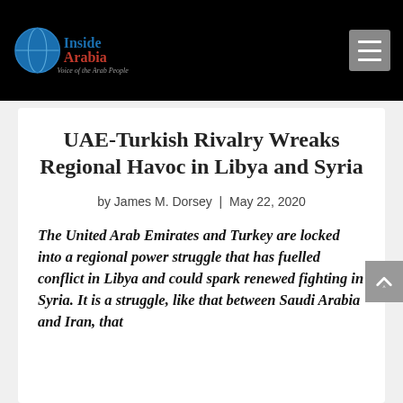Inside Arabia — Voice of the Arab People
UAE-Turkish Rivalry Wreaks Regional Havoc in Libya and Syria
by James M. Dorsey | May 22, 2020
The United Arab Emirates and Turkey are locked into a regional power struggle that has fuelled conflict in Libya and could spark renewed fighting in Syria. It is a struggle, like that between Saudi Arabia and Iran, that